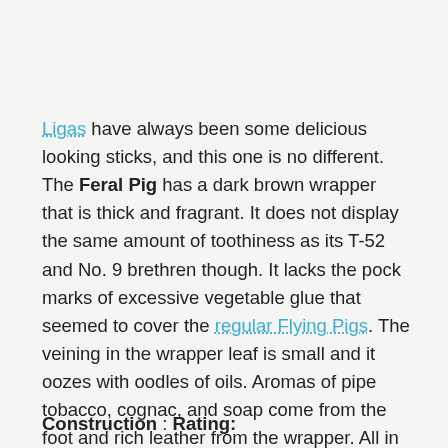Ligas have always been some delicious looking sticks, and this one is no different. The Feral Pig has a dark brown wrapper that is thick and fragrant. It does not display the same amount of toothiness as its T-52 and No. 9 brethren though. It lacks the pock marks of excessive vegetable glue that seemed to cover the regular Flying Pigs. The veining in the wrapper leaf is small and it oozes with oodles of oils. Aromas of pipe tobacco, cognac, and soap come from the foot and rich leather from the wrapper. All in all, I think this is a much more appealing stick than the smaller Flying Pigs.
Construction : Rating: